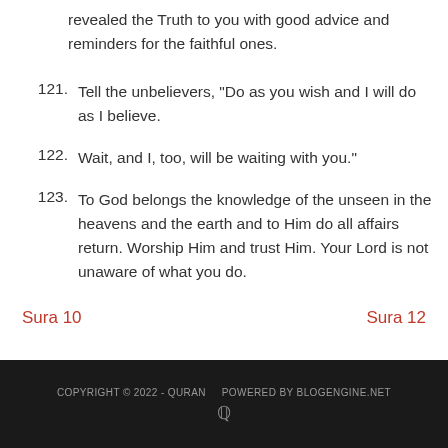revealed the Truth to you with good advice and reminders for the faithful ones.
121. Tell the unbelievers, "Do as you wish and I will do as I believe.
122. Wait, and I, too, will be waiting with you."
123. To God belongs the knowledge of the unseen in the heavens and the earth and to Him do all affairs return. Worship Him and trust Him. Your Lord is not unaware of what you do.
Sura 10    Sura 12
COPYRIGHT © 2022 - QURAN   POWERED BY BLOGENGINE.NET